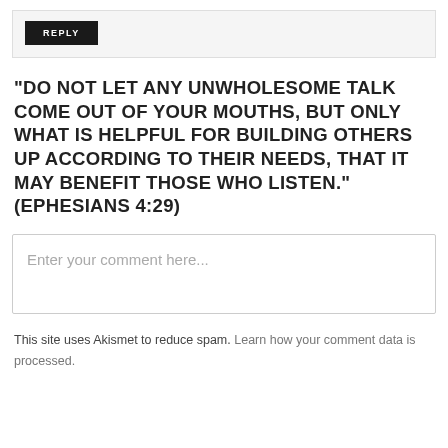[Figure (screenshot): Top card section with a dark REPLY button on a light gray background]
"DO NOT LET ANY UNWHOLESOME TALK COME OUT OF YOUR MOUTHS, BUT ONLY WHAT IS HELPFUL FOR BUILDING OTHERS UP ACCORDING TO THEIR NEEDS, THAT IT MAY BENEFIT THOSE WHO LISTEN." (EPHESIANS 4:29)
[Figure (screenshot): Comment input box with placeholder text: Enter your comment here...]
This site uses Akismet to reduce spam. Learn how your comment data is processed.